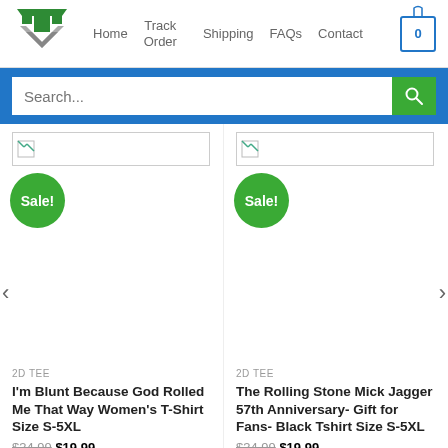[Figure (logo): Green and gray triangular logo with T letter]
Home  Track Order  Shipping  FAQs  Contact  0
Search...
[Figure (other): Broken image placeholder for product 1]
Sale!
[Figure (other): Broken image placeholder for product 2]
Sale!
2D TEE
I'm Blunt Because God Rolled Me That Way Women's T-Shirt Size S-5XL
$34.99  $19.99
2D TEE
The Rolling Stone Mick Jagger 57th Anniversary- Gift for Fans- Black Tshirt Size S-5XL
$34.99  $19.99